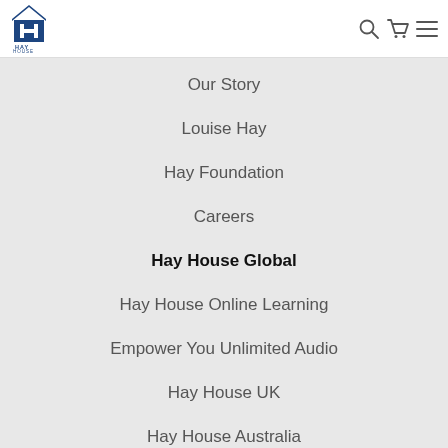[Figure (logo): Hay House logo with house icon and text HAY HOUSE]
Our Story
Louise Hay
Hay Foundation
Careers
Hay House Global
Hay House Online Learning
Empower You Unlimited Audio
Hay House UK
Hay House Australia
Hay House India